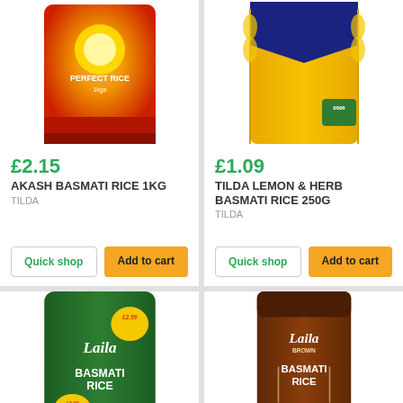[Figure (photo): Akash Basmati Rice 1kg product package - red bag with sun design, Tilda brand]
£2.15
AKASH BASMATI RICE 1KG
TILDA
Quick shop
Add to cart
[Figure (photo): Tilda Lemon & Herb Basmati Rice 250g product package - yellow bag]
£1.09
TILDA LEMON & HERB BASMATI RICE 250G
TILDA
Quick shop
Add to cart
[Figure (photo): Laila Basmati Rice green bag 2kg product package]
[Figure (photo): Laila Brown Basmati Rice 1kg product package - brown/orange bag]